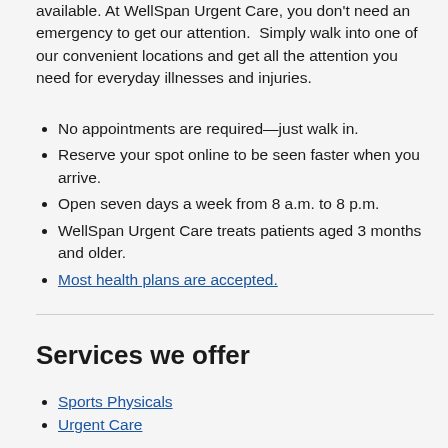available. At WellSpan Urgent Care, you don't need an emergency to get our attention.  Simply walk into one of our convenient locations and get all the attention you need for everyday illnesses and injuries.
No appointments are required—just walk in.
Reserve your spot online to be seen faster when you arrive.
Open seven days a week from 8 a.m. to 8 p.m.
WellSpan Urgent Care treats patients aged 3 months and older.
Most health plans are accepted.
Services we offer
Sports Physicals
Urgent Care